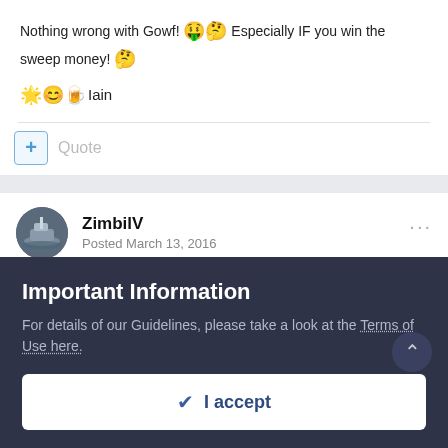Nothing wrong with Gowf! 🤑🤔 Especially IF you win the sweep money! 🤔
🌟😊🍺lain
+ Quote
ZimbilV
Posted March 13, 2016
Griff, agree with you four year old batteries is pushing it, when I
Important Information
For details of our Guidelines, please take a look at the Terms of Use here.
✔ I accept